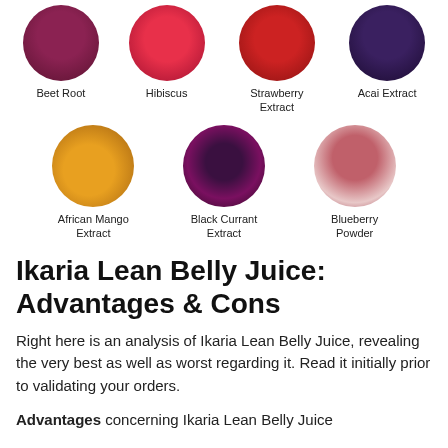[Figure (photo): Row of circular ingredient photos: Beet Root, Hibiscus, Strawberry Extract, Acai Extract]
Beet Root    Hibiscus    Strawberry Extract    Acai Extract
[Figure (photo): Row of circular ingredient photos: African Mango Extract, Black Currant Extract, Blueberry Powder]
African Mango Extract    Black Currant Extract    Blueberry Powder
Ikaria Lean Belly Juice: Advantages & Cons
Right here is an analysis of Ikaria Lean Belly Juice, revealing the very best as well as worst regarding it. Read it initially prior to validating your orders.
Advantages concerning Ikaria Lean Belly Juice